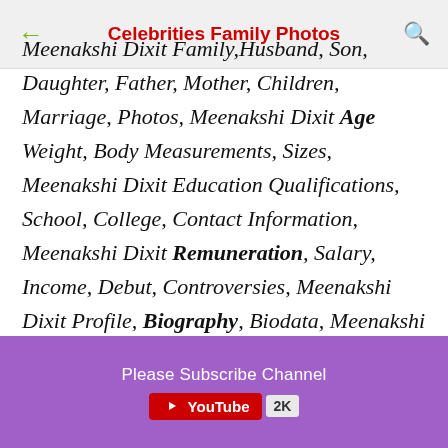Celebrities Family Photos
Meenakshi Dixit Family,Husband, Son, Daughter, Father, Mother, Children, Marriage, Photos, Meenakshi Dixit Age Weight, Body Measurements, Sizes, Meenakshi Dixit Education Qualifications, School, College, Contact Information, Meenakshi Dixit Remuneration, Salary, Income, Debut, Controversies, Meenakshi Dixit Profile, Biography, Biodata, Meenakshi Dixit Girl and Boy friends
Please Subscribe Channel YouTube 2K